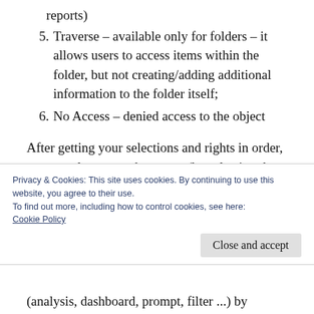reports)
5. Traverse – available only for folders – it allows users to access items within the folder, but not creating/adding additional information to the folder itself;
6. No Access – denied access to the object
After getting your selections and rights in order, you can also set up the owner (by selecting the appropriate radio button – default is no selection if greater of
Privacy & Cookies: This site uses cookies. By continuing to use this website, you agree to their use.
To find out more, including how to control cookies, see here:
Cookie Policy
(analysis, dashboard, prompt, filter ...) by